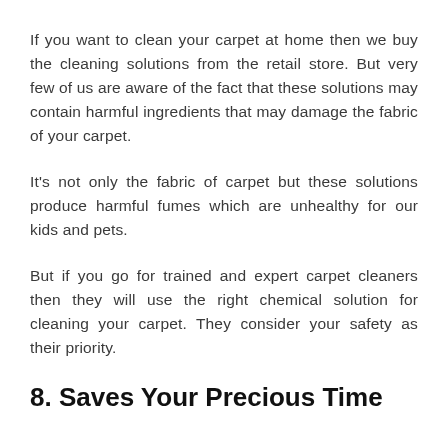If you want to clean your carpet at home then we buy the cleaning solutions from the retail store. But very few of us are aware of the fact that these solutions may contain harmful ingredients that may damage the fabric of your carpet.
It's not only the fabric of carpet but these solutions produce harmful fumes which are unhealthy for our kids and pets.
But if you go for trained and expert carpet cleaners then they will use the right chemical solution for cleaning your carpet. They consider your safety as their priority.
8. Saves Your Precious Time